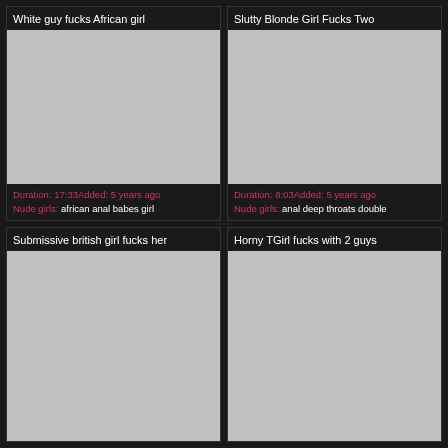White guy fucks African girl
[Figure (photo): Thumbnail placeholder - grey rectangle]
Duration: 17:33Added: 5 years ago
Nude girls: african anal babes girl
Slutty Blonde Girl Fucks Two
[Figure (photo): Thumbnail placeholder - grey rectangle]
Duration: 8:03Added: 5 years ago
Nude girls: anal deep throats double
Submissive british girl fucks her
[Figure (photo): Thumbnail placeholder - grey rectangle]
Horny TGirl fucks with 2 guys
[Figure (photo): Thumbnail placeholder - grey rectangle]